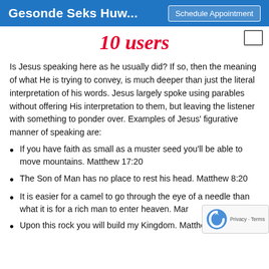Gesonde Seks Huw... | Schedule Appointment
[Figure (logo): 10 users / IO users logo in red cursive script]
Is Jesus speaking here as he usually did? If so, then the meaning of what He is trying to convey, is much deeper than just the literal interpretation of his words. Jesus largely spoke using parables without offering His interpretation to them, but leaving the listener with something to ponder over. Examples of Jesus' figurative manner of speaking are:
If you have faith as small as a muster seed you'll be able to move mountains. Matthew 17:20
The Son of Man has no place to rest his head. Matthew 8:20
It is easier for a camel to go through the eye of a needle than what it is for a rich man to enter heaven. Mar...
Upon this rock you will build my Kingdom. Matthe...